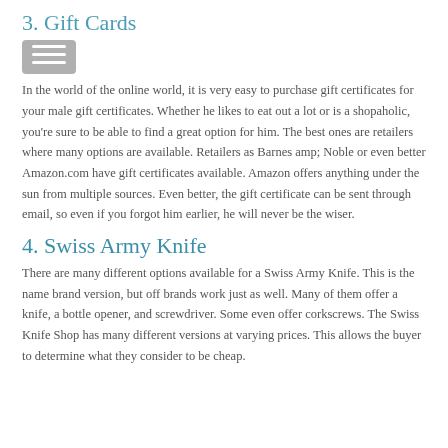3. Gift Cards
In the world of the online world, it is very easy to purchase gift certificates for your male gift certificates. Whether he likes to eat out a lot or is a shopaholic, you're sure to be able to find a great option for him. The best ones are retailers where many options are available. Retailers as Barnes amp; Noble or even better Amazon.com have gift certificates available. Amazon offers anything under the sun from multiple sources. Even better, the gift certificate can be sent through email, so even if you forgot him earlier, he will never be the wiser.
4. Swiss Army Knife
There are many different options available for a Swiss Army Knife. This is the name brand version, but off brands work just as well. Many of them offer a knife, a bottle opener, and screwdriver. Some even offer corkscrews. The Swiss Knife Shop has many different versions at varying prices. This allows the buyer to determine what they consider to be cheap.